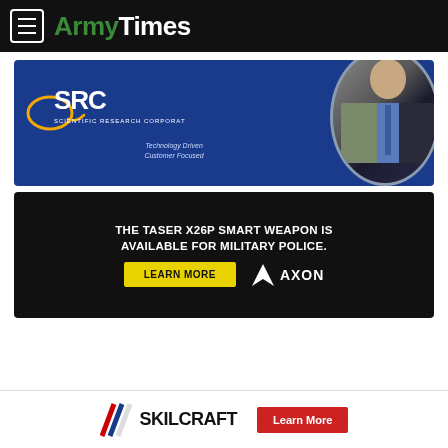ArmyTimes
[Figure (advertisement): SRC Scientific Research Corporation ad with logo, QR code, tagline 'Technology Driven Customer Focused', and image of person in military/civilian attire]
[Figure (advertisement): AXON ad: 'THE TASER X26P SMART WEAPON IS AVAILABLE FOR MILITARY POLICE.' with yellow LEARN MORE button and AXON logo]
[Figure (advertisement): SKILCRAFT logo ad with red 'Learn More' button]